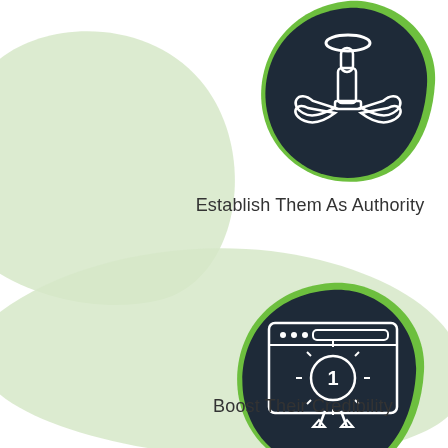[Figure (illustration): Dark navy teardrop/leaf-shaped blob icon with white angel hand holding up one finger with wings and a halo above, with a green border outline]
Establish Them As Authority
[Figure (illustration): Dark navy teardrop/leaf-shaped blob icon with white browser window showing a number 1 badge/award seal, with a green border outline]
Boost Their Credibility